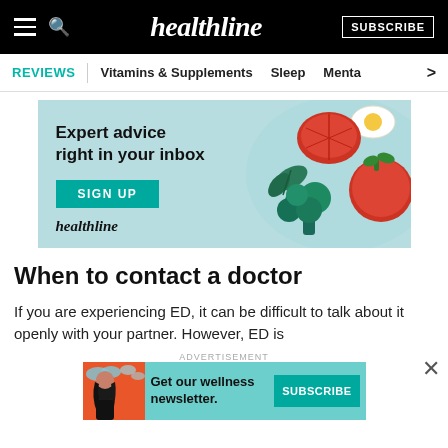healthline — SUBSCRIBE
[Figure (screenshot): Healthline website navigation bar with hamburger menu, search icon, healthline logo, and SUBSCRIBE button on black background]
REVIEWS | Vitamins & Supplements   Sleep   Menta >
[Figure (infographic): Healthline newsletter signup advertisement banner with text 'Expert advice right in your inbox', SIGN UP button, healthline logo, and illustrated food items (egg, tomatoes, broccoli, herbs) on light blue background]
When to contact a doctor
If you are experiencing ED, it can be difficult to talk about it openly with your partner. However, ED is
ADVERTISEMENT
[Figure (infographic): Healthline wellness newsletter subscription banner at bottom with illustrated woman, teal background, text 'Get our wellness newsletter.' and SUBSCRIBE button]